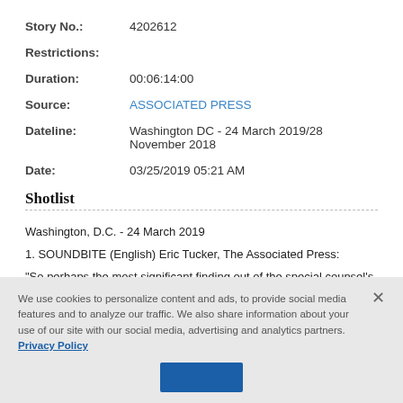Story No.: 4202612
Restrictions:
Duration: 00:06:14:00
Source: ASSOCIATED PRESS
Dateline: Washington DC - 24 March 2019/28 November 2018
Date: 03/25/2019 05:21 AM
Shotlist
Washington, D.C. - 24 March 2019
1. SOUNDBITE (English) Eric Tucker, The Associated Press:
"So perhaps the most significant finding out of the special counsel's report toda
We use cookies to personalize content and ads, to provide social media features and to analyze our traffic. We also share information about your use of our site with our social media, advertising and analytics partners. Privacy Policy